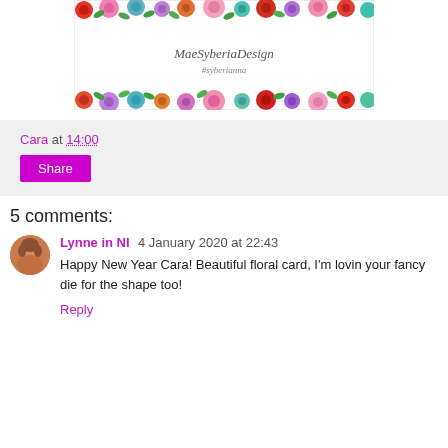[Figure (illustration): Floral card design with colorful flowers (red, pink, purple, teal) along the top and bottom borders, white center with script text reading MaeSyberia Design and a social handle, designed by MaeSyberia Design.]
Cara at 14:00
Share
5 comments:
[Figure (photo): Avatar/profile photo of Lynne in NI - a woman with short hair.]
Lynne in NI 4 January 2020 at 22:43
Happy New Year Cara! Beautiful floral card, I'm lovin your fancy die for the shape too!
Reply